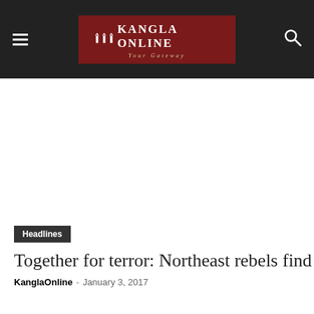Kangla Online — Your Gateway
[Figure (illustration): Advertisement or blank white space area below the navigation bar]
Headlines
Together for terror: Northeast rebels find share
KanglaOnline - January 3, 2017